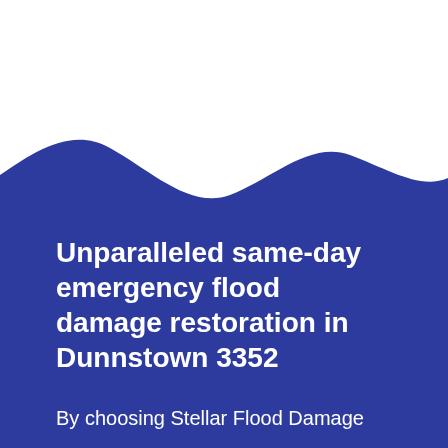[Figure (illustration): Blue wave-shaped background panel with white top area. A dark blue (#2d3a9c) panel fills the bottom two-thirds of the page with a wavy top edge creating a wave motif against the white background.]
Unparalleled same-day emergency flood damage restoration in Dunnstown 3352
By choosing Stellar Flood Damage